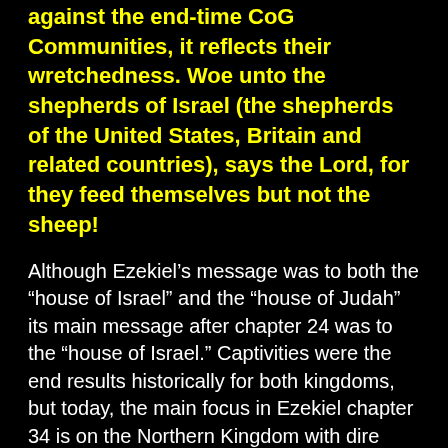against the end-time CoG Communities, it reflects their wretchedness. Woe unto the shepherds of Israel (the shepherds of the United States, Britain and related countries), says the Lord, for they feed themselves but not the sheep!
Although Ezekiel's message was to both the "house of Israel" and the "house of Judah" its main message after chapter 24 was to the "house of Israel." Captivities were the end results historically for both kingdoms, but today, the main focus in Ezekiel chapter 34 is on the Northern Kingdom with dire warning, especially its shepherds:
Ezekiel 34:1 And the word of the Lord came unto me, saying,2 “Son of man, prophesy against the shepherds of Israel, prophesy and say unto them, ‘Thus saith the Lord God unto the shepherds: Woe to